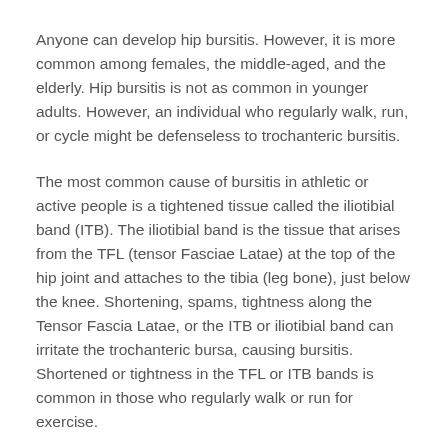Anyone can develop hip bursitis. However, it is more common among females, the middle-aged, and the elderly. Hip bursitis is not as common in younger adults. However, an individual who regularly walk, run, or cycle might be defenseless to trochanteric bursitis.
The most common cause of bursitis in athletic or active people is a tightened tissue called the iliotibial band (ITB). The iliotibial band is the tissue that arises from the TFL (tensor Fasciae Latae) at the top of the hip joint and attaches to the tibia (leg bone), just below the knee. Shortening, spams, tightness along the Tensor Fascia Latae, or the ITB or iliotibial band can irritate the trochanteric bursa, causing bursitis. Shortened or tightness in the TFL or ITB bands is common in those who regularly walk or run for exercise.